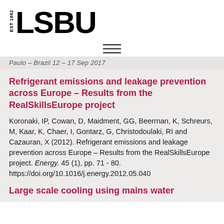[Figure (logo): LSBU logo with EST 1892 text and bold LSBU lettering]
[Figure (other): Hamburger menu icon — three horizontal lines]
Paulo – Brazil 12 – 17 Sep 2017
Refrigerant emissions and leakage prevention across Europe – Results from the RealSkillsEurope project
Koronaki, IP, Cowan, D, Maidment, GG, Beerrnan, K, Schreurs, M, Kaar, K, Chaer, I, Gontarz, G, Christodoulaki, RI and Cazauran, X (2012). Refrigerant emissions and leakage prevention across Europe – Results from the RealSkillsEurope project. Energy. 45 (1), pp. 71 - 80. https://doi.org/10.1016/j.energy.2012.05.040
Large scale cooling using mains water